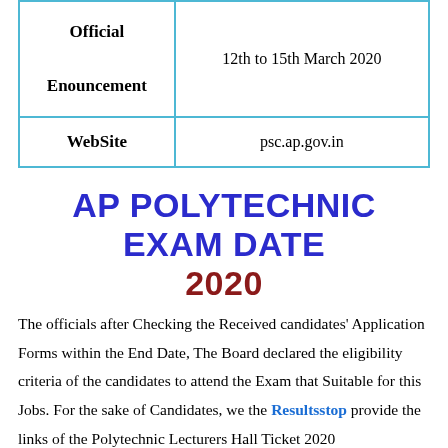|  |  |
| --- | --- |
| Official Enouncement | 12th to 15th March 2020 |
| WebSite | psc.ap.gov.in |
AP POLYTECHNIC EXAM DATE 2020
The officials after Checking the Received candidates' Application Forms within the End Date, The Board declared the eligibility criteria of the candidates to attend the Exam that Suitable for this Jobs. For the sake of Candidates, we the Resultsstop provide the links of the Polytechnic Lecturers Hall Ticket 2020